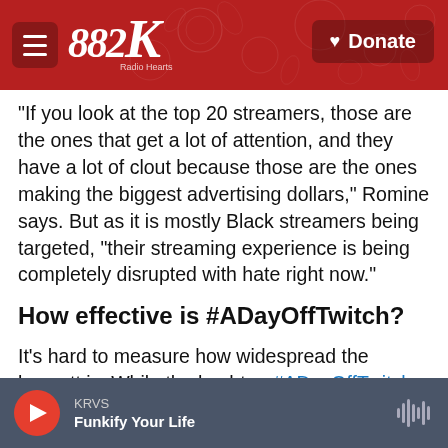KRVS Radio Hearts — Hamburger menu and Donate button
"If you look at the top 20 streamers, those are the ones that get a lot of attention, and they have a lot of clout because those are the ones making the biggest advertising dollars," Romine says. But as it is mostly Black streamers being targeted, "their streaming experience is being completely disrupted with hate right now."
How effective is #ADayOffTwitch?
It's hard to measure how widespread the boycott is. While the hashtag #ADayOffTwitch is getting some traction on Twitter, there isn't much discussion of it
KRVS — Funkify Your Life